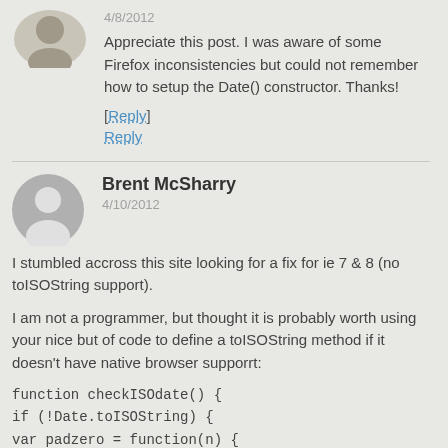4/8/2012
Appreciate this post. I was aware of some Firefox inconsistencies but could not remember how to setup the Date() constructor. Thanks!
[Reply]
Reply
Brent McSharry
4/10/2012
I stumbled accross this site looking for a fix for ie 7 & 8 (no toISOString support).
I am not a programmer, but thought it is probably worth using your nice but of code to define a toISOString method if it doesn't have native browser supporrt:
function checkISOdate() {
if (!Date.toISOString) {
var padzero = function(n) {
return n < 10 ? '0' + n : n;